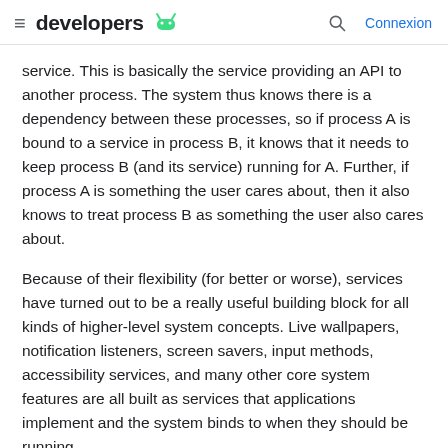≡ developers 🤖  🔍  Connexion
service. This is basically the service providing an API to another process. The system thus knows there is a dependency between these processes, so if process A is bound to a service in process B, it knows that it needs to keep process B (and its service) running for A. Further, if process A is something the user cares about, then it also knows to treat process B as something the user also cares about.
Because of their flexibility (for better or worse), services have turned out to be a really useful building block for all kinds of higher-level system concepts. Live wallpapers, notification listeners, screen savers, input methods, accessibility services, and many other core system features are all built as services that applications implement and the system binds to when they should be running.